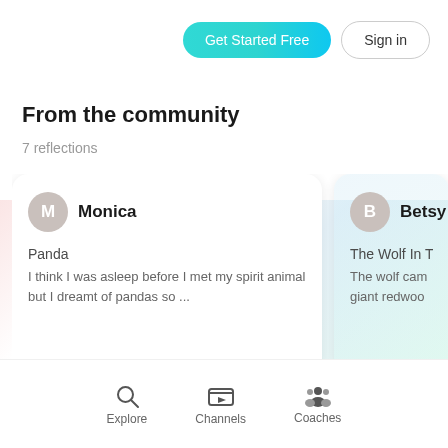[Figure (screenshot): App navigation bar with 'Get Started Free' teal button and 'Sign in' outlined button]
From the community
7 reflections
[Figure (screenshot): Community reflection card for Monica: 'Panda - I think I was asleep before I met my spirit animal but I dreamt of pandas so ...']
[Figure (screenshot): Partially visible community reflection card for Betsy: 'The Wolf In T - The wolf cam giant redwoo']
[Figure (screenshot): Bottom navigation bar with Explore (search icon), Channels (video icon), Coaches (people icon)]